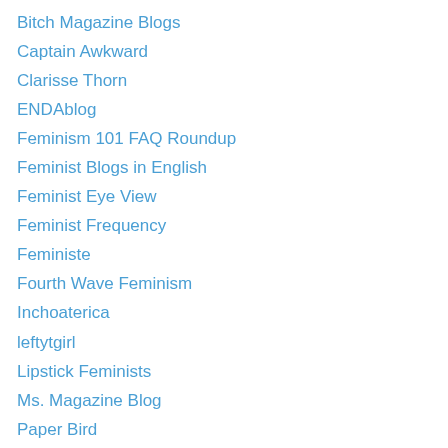Bitch Magazine Blogs
Captain Awkward
Clarisse Thorn
ENDAblog
Feminism 101 FAQ Roundup
Feminist Blogs in English
Feminist Eye View
Feminist Frequency
Feministe
Fourth Wave Feminism
Inchoaterica
leftytgirl
Lipstick Feminists
Ms. Magazine Blog
Paper Bird
Pretty Queer
Questioning Transphobia
Shakesville
The Anarcho-Feminist
The Fatal Feminist